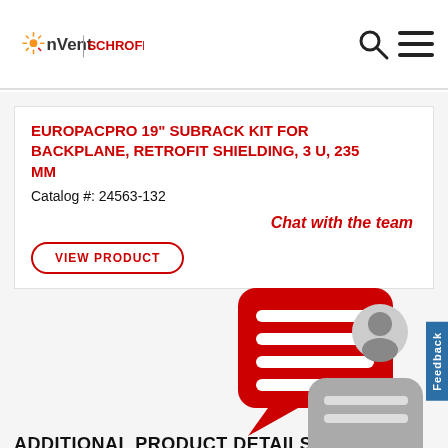nVent SCHROFF
EUROPACPRO 19" SUBRACK KIT FOR BACKPLANE, RETROFIT SHIELDING, 3 U, 235 MM
Catalog #: 24563-132
Chat with the team
VIEW PRODUCT
ADDITIONAL PRODUCT DETAILS
Plug-in unit, with extraction handle type 2 and U-shaped front panel. The grey handle is assembled on the front panel. The U-shaped panel enables the assembly of a textile gasket. The handle is